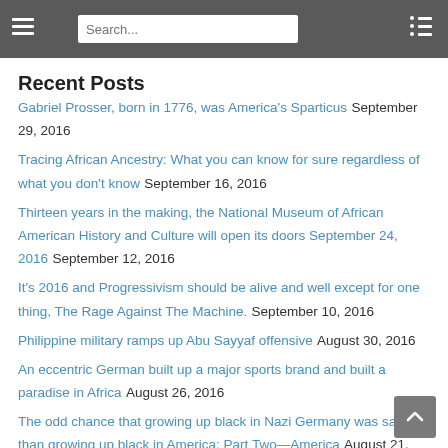Search... [hamburger menu] [list icon]
Recent Posts
Gabriel Prosser, born in 1776, was America's Sparticus September 29, 2016
Tracing African Ancestry: What you can know for sure regardless of what you don't know September 16, 2016
Thirteen years in the making, the National Museum of African American History and Culture will open its doors September 24, 2016 September 12, 2016
It's 2016 and Progressivism should be alive and well except for one thing, The Rage Against The Machine. September 10, 2016
Philippine military ramps up Abu Sayyaf offensive August 30, 2016
An eccentric German built up a major sports brand and built a paradise in Africa August 26, 2016
The odd chance that growing up black in Nazi Germany was safer than growing up black in America: Part Two—America August 21, 2016
The odd chance that growing up black in Nazi Germany…